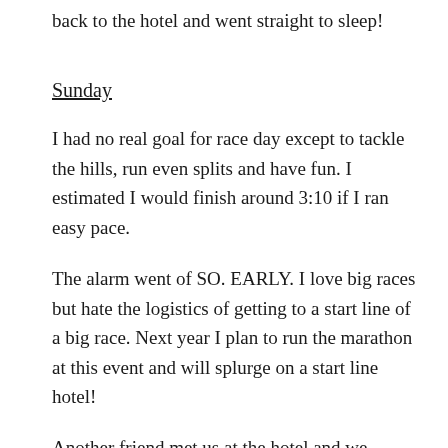back to the hotel and went straight to sleep!
Sunday
I had no real goal for race day except to tackle the hills, run even splits and have fun. I estimated I would finish around 3:10 if I ran easy pace.
The alarm went of SO. EARLY. I love big races but hate the logistics of getting to a start line of a big race. Next year I plan to run the marathon at this event and will splurge on a start line hotel!
Another friend met us at the hotel and we hopped in the car. The plan was that we had a parking spot booked at the finish and we would take a shuttle to the start of our race, the 2nd half marathon. We had to be at the shuttle stop no later than 5:45 in order